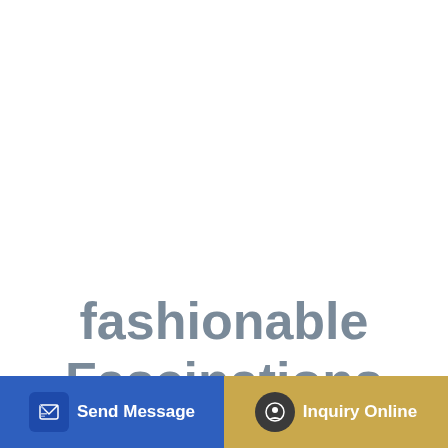fashionable Fascinations Metal WHEELLOADER 3D...
[Figure (screenshot): Bottom navigation bar with 'Send Message' button (blue) and 'Inquiry Online' button (gold/yellow), each with an icon on the left.]